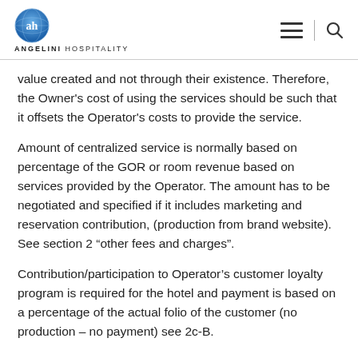ANGELINI HOSPITALITY
value created and not through their existence. Therefore, the Owner's cost of using the services should be such that it offsets the Operator's costs to provide the service.
Amount of centralized service is normally based on percentage of the GOR or room revenue based on services provided by the Operator. The amount has to be negotiated and specified if it includes marketing and reservation contribution, (production from brand website). See section 2 “other fees and charges”.
Contribution/participation to Operator’s customer loyalty program is required for the hotel and payment is based on a percentage of the actual folio of the customer (no production – no payment) see 2c-B.